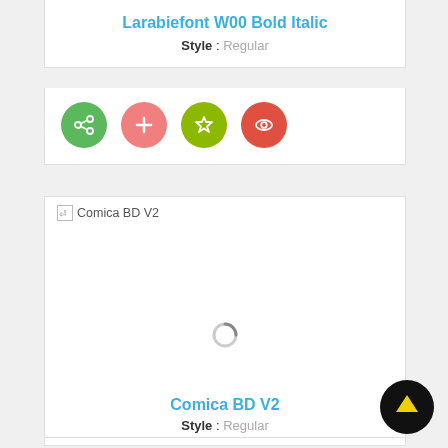Larabiefont W00 Bold Italic
Style : Regular
[Figure (other): Four colored circle buttons: green share icon, pink plus icon, green star icon, red eye icon]
[Figure (other): Font preview card for Comica BD V2 with broken image icon and loading spinner]
Comica BD V2
Style : Regular
[Figure (other): Black circle scroll-to-top button with yellow upward arrow]